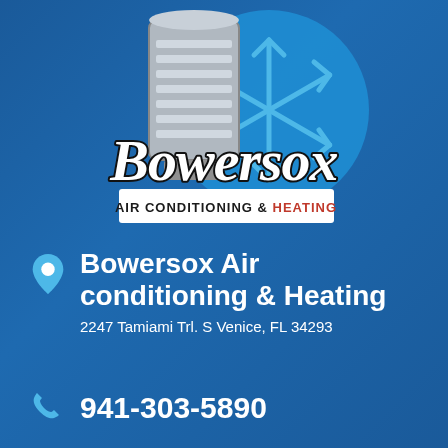[Figure (logo): Bowersox Air Conditioning & Heating logo with snowflake and AC unit graphic, cursive Bowersox text with white banner reading AIR CONDITIONING & HEATING in white and orange text]
Bowersox Air conditioning & Heating
2247 Tamiami Trl. S Venice, FL 34293
941-303-5890